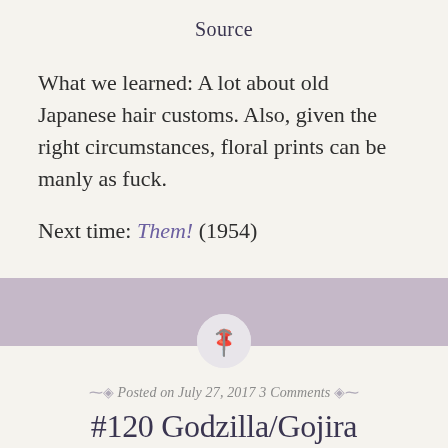Source
What we learned: A lot about old Japanese hair customs. Also, given the right circumstances, floral prints can be manly as fuck.
Next time: Them! (1954)
[Figure (illustration): Purple/mauve horizontal band divider with a circular pin icon button centered on it]
Posted on July 27, 2017 3 Comments
#120 Godzilla/Gojira